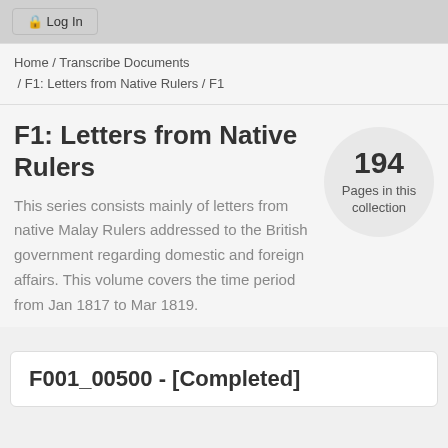🔒 Log In
Home / Transcribe Documents / F1: Letters from Native Rulers / F1
F1: Letters from Native Rulers
[Figure (infographic): Circle badge showing 194 Pages in this collection]
This series consists mainly of letters from native Malay Rulers addressed to the British government regarding domestic and foreign affairs. This volume covers the time period from Jan 1817 to Mar 1819.
F001_00500 - [Completed]